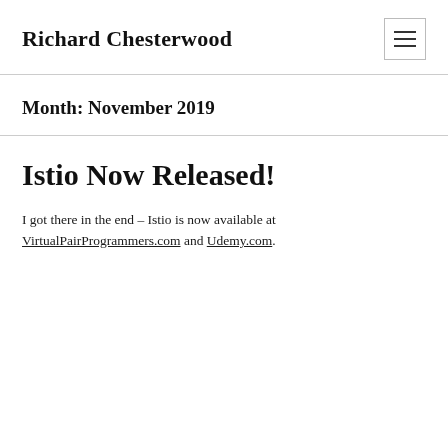Richard Chesterwood
Month: November 2019
Istio Now Released!
I got there in the end – Istio is now available at VirtualPairProgrammers.com and Udemy.com.